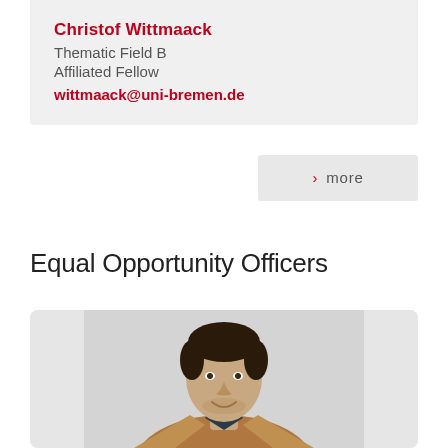Christof Wittmaack
Thematic Field B
Affiliated Fellow
wittmaack@uni-bremen.de
› more
Equal Opportunity Officers
[Figure (photo): Portrait photo of a young man with short dark hair and stubble, smiling, wearing a brown jacket over a dark shirt, against a light grey background.]